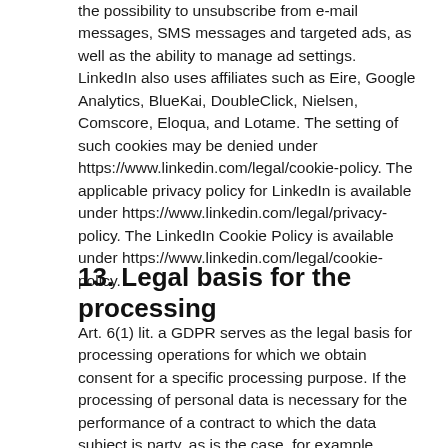the possibility to unsubscribe from e-mail messages, SMS messages and targeted ads, as well as the ability to manage ad settings. LinkedIn also uses affiliates such as Eire, Google Analytics, BlueKai, DoubleClick, Nielsen, Comscore, Eloqua, and Lotame. The setting of such cookies may be denied under https://www.linkedin.com/legal/cookie-policy. The applicable privacy policy for LinkedIn is available under https://www.linkedin.com/legal/privacy-policy. The LinkedIn Cookie Policy is available under https://www.linkedin.com/legal/cookie-policy.
13. Legal basis for the processing
Art. 6(1) lit. a GDPR serves as the legal basis for processing operations for which we obtain consent for a specific processing purpose. If the processing of personal data is necessary for the performance of a contract to which the data subject is party, as is the case, for example, when processing operations are necessary for the supply of goods or to provide any other service, the processing is based